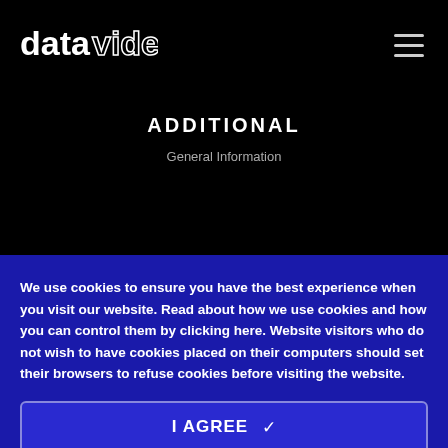[Figure (logo): Datavideo logo in white on black background]
ADDITIONAL
General Information
Datavideo Recorder
We use cookies to ensure you have the best experience when you visit our website. Read about how we use cookies and how you can control them by clicking here. Website visitors who do not wish to have cookies placed on their computers should set their browsers to refuse cookies before visiting the website.
I AGREE